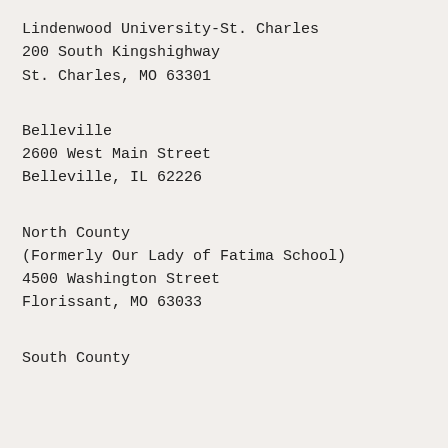Lindenwood University-St. Charles
200 South Kingshighway
St. Charles, MO 63301
Belleville
2600 West Main Street
Belleville, IL 62226
North County
(Formerly Our Lady of Fatima School)
4500 Washington Street
Florissant, MO 63033
South County